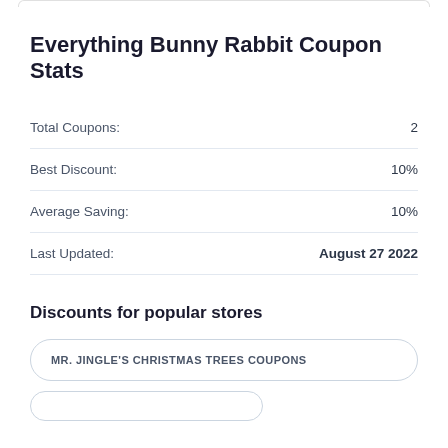Everything Bunny Rabbit Coupon Stats
|  |  |
| --- | --- |
| Total Coupons: | 2 |
| Best Discount: | 10% |
| Average Saving: | 10% |
| Last Updated: | August 27 2022 |
Discounts for popular stores
MR. JINGLE'S CHRISTMAS TREES COUPONS